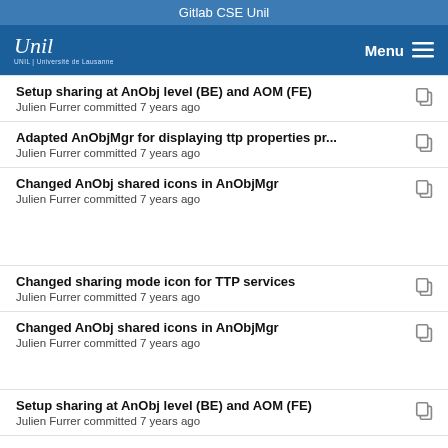Gitlab CSE Unil
[Figure (logo): UNIL University of Lausanne logo with navigation menu bar]
Setup sharing at AnObj level (BE) and AOM (FE)
Julien Furrer committed 7 years ago
Adapted AnObjMgr for displaying ttp properties pr...
Julien Furrer committed 7 years ago
Changed AnObj shared icons in AnObjMgr
Julien Furrer committed 7 years ago
Changed sharing mode icon for TTP services
Julien Furrer committed 7 years ago
Changed AnObj shared icons in AnObjMgr
Julien Furrer committed 7 years ago
Setup sharing at AnObj level (BE) and AOM (FE)
Julien Furrer committed 7 years ago